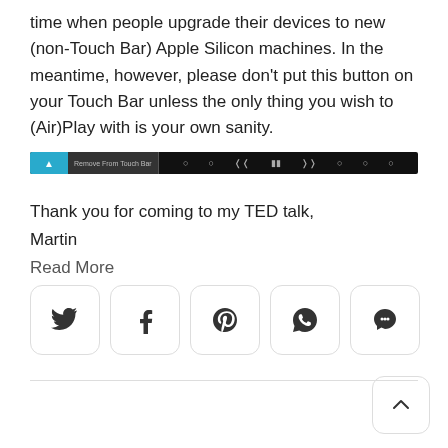time when people upgrade their devices to new (non-Touch Bar) Apple Silicon machines. In the meantime, however, please don't put this button on your Touch Bar unless the only thing you wish to (Air)Play with is your own sanity.
[Figure (screenshot): A macOS Touch Bar screenshot showing a teal/blue AirPlay icon on the left, a 'Remove From Touch Bar' label, and media control icons on a dark background.]
Thank you for coming to my TED talk,
Martin
Read More
[Figure (infographic): A row of five social sharing buttons: Twitter (bird), Facebook (f), Pinterest (P), WhatsApp (phone), and a chat/more button (three dots in bubble), each in a rounded square border.]
[Figure (other): A back-to-top button with an upward caret/chevron inside a rounded square, positioned at bottom right.]